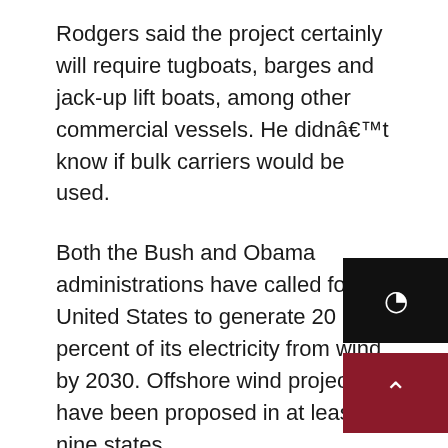Rodgers said the project certainly will require tugboats, barges and jack-up lift boats, among other commercial vessels. He didnâ€™t know if bulk carriers would be used.
Both the Bush and Obama administrations have called for the United States to generate 20 percent of its electricity from wind by 2030. Offshore wind projects have been proposed in at least nine states.
Wind-power advocates have said that, if current growth projections are attained, the offshore wind industry would need purpose-built vessels to become more efficient in the installation and servicing of the turbines. The projectâ€™s [vessels] will be U.S.-built and crewed, the company [said].